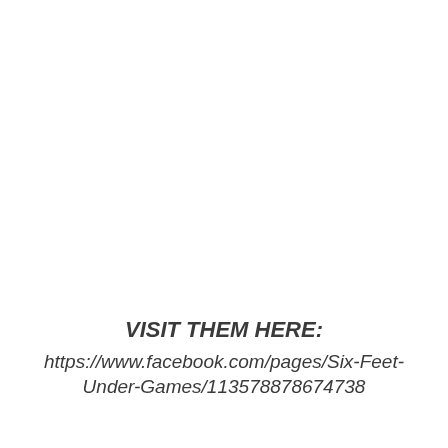VISIT THEM HERE:
https://www.facebook.com/pages/Six-Feet-Under-Games/113578878674738